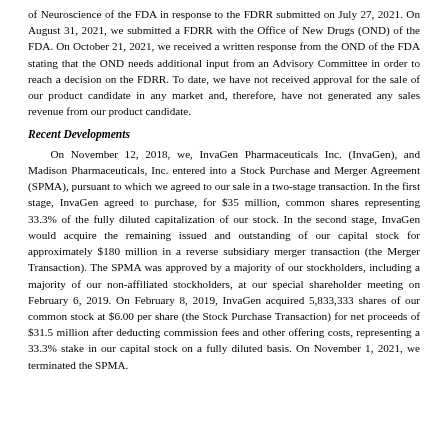of Neuroscience of the FDA in response to the FDRR submitted on July 27, 2021. On August 31, 2021, we submitted a FDRR with the Office of New Drugs (OND) of the FDA. On October 21, 2021, we received a written response from the OND of the FDA stating that the OND needs additional input from an Advisory Committee in order to reach a decision on the FDRR. To date, we have not received approval for the sale of our product candidate in any market and, therefore, have not generated any sales revenue from our product candidate.
Recent Developments
On November 12, 2018, we, InvaGen Pharmaceuticals Inc. (InvaGen), and Madison Pharmaceuticals, Inc. entered into a Stock Purchase and Merger Agreement (SPMA), pursuant to which we agreed to our sale in a two-stage transaction. In the first stage, InvaGen agreed to purchase, for $35 million, common shares representing 33.3% of the fully diluted capitalization of our stock. In the second stage, InvaGen would acquire the remaining issued and outstanding of our capital stock for approximately $180 million in a reverse subsidiary merger transaction (the Merger Transaction). The SPMA was approved by a majority of our stockholders, including a majority of our non-affiliated stockholders, at our special shareholder meeting on February 6, 2019. On February 8, 2019, InvaGen acquired 5,833,333 shares of our common stock at $6.00 per share (the Stock Purchase Transaction) for net proceeds of $31.5 million after deducting commission fees and other offering costs, representing a 33.3% stake in our capital stock on a fully diluted basis. On November 1, 2021, we terminated the SPMA.